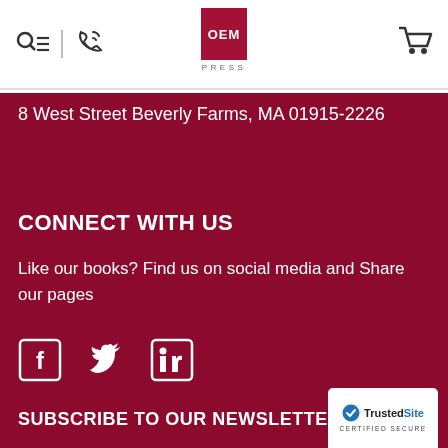[Figure (logo): OEM Press logo with red square and PRESS text below]
8 West Street Beverly Farms, MA 01915-2226
CONNECT WITH US
Like our books? Find us on social media and Share our pages
[Figure (other): Social media icons: Facebook, Twitter, LinkedIn]
SUBSCRIBE TO OUR NEWSLETTER
[Figure (other): TrustedSite Certified Secure badge]